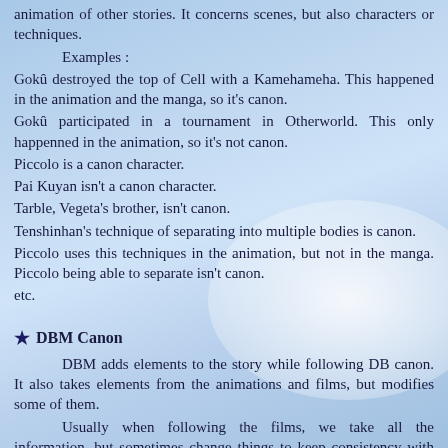animation of other stories. It concerns scenes, but also characters or techniques.
Examples :
Gokû destroyed the top of Cell with a Kamehameha. This happened in the animation and the manga, so it's canon.
Gokû participated in a tournament in Otherworld. This only happenned in the animation, so it's not canon.
Piccolo is a canon character.
Pai Kuyan isn't a canon character.
Tarble, Vegeta's brother, isn't canon.
Tenshinhan's technique of separating into multiple bodies is canon.
Piccolo uses this techniques in the animation, but not in the manga. Piccolo being able to separate isn't canon.
etc.
★ DBM Canon
DBM adds elements to the story while following DB canon. It also takes elements from the animations and films, but modifies some of them.
Usually when following the films, we take all the information, but sometimes change things to keep consistency with the manga.
For example, Broly, who isn't "DB canon", is "DBM canon" but he isn't the one from the movies, and his story is different from the movies, too.